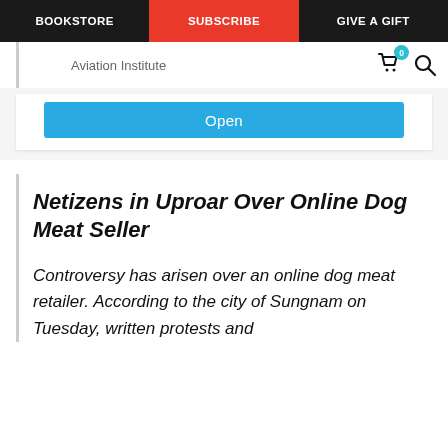BOOKSTORE | SUBSCRIBE | GIVE A GIFT
Aviation Institute
[Figure (screenshot): Blue 'Open' button on white card background]
Netizens in Uproar Over Online Dog Meat Seller
Controversy has arisen over an online dog meat retailer. According to the city of Sungnam on Tuesday, written protests and